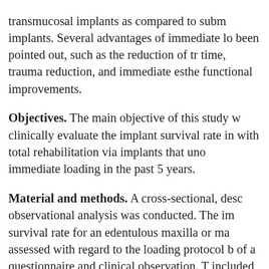transmucosal implants as compared to subm implants. Several advantages of immediate lo been pointed out, such as the reduction of tr time, trauma reduction, and immediate esthe functional improvements.
Objectives. The main objective of this study w clinically evaluate the implant survival rate in with total rehabilitation via implants that un immediate loading in the past 5 years.
Material and methods. A cross-sectional, desc observational analysis was conducted. The im survival rate for an edentulous maxilla or ma assessed with regard to the loading protocol b of a questionnaire and clinical observation. T included 103 patients with edentulous jaws r with fixed prostheses on implants. Each patie 4–6 implants. In total, 474 implants were plac